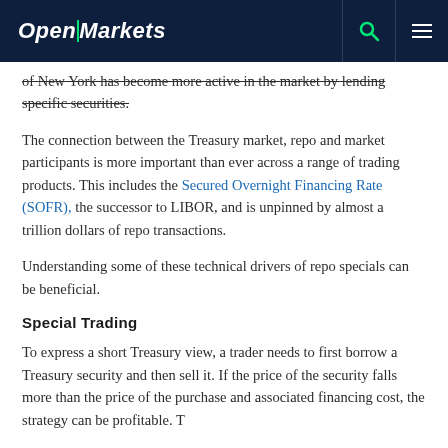OpenMarkets
of New York has become more active in the market by lending specific securities.
The connection between the Treasury market, repo and market participants is more important than ever across a range of trading products. This includes the Secured Overnight Financing Rate (SOFR), the successor to LIBOR, and is unpinned by almost a trillion dollars of repo transactions.
Understanding some of these technical drivers of repo specials can be beneficial.
Special Trading
To express a short Treasury view, a trader needs to first borrow a Treasury security and then sell it. If the price of the security falls more than the price of the purchase and associated financing cost, the strategy can be profitable. T...